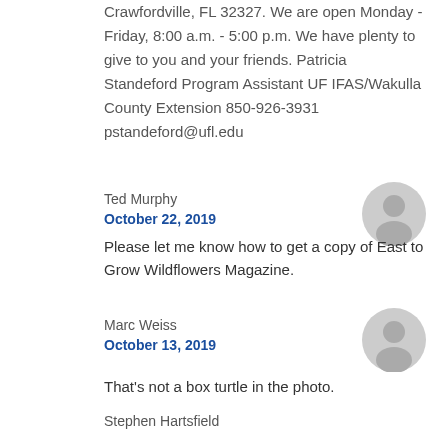Crawfordville, FL 32327. We are open Monday - Friday, 8:00 a.m. - 5:00 p.m. We have plenty to give to you and your friends. Patricia Standeford Program Assistant UF IFAS/Wakulla County Extension 850-926-3931 pstandeford@ufl.edu
Ted Murphy
October 22, 2019
Please let me know how to get a copy of East to Grow Wildflowers Magazine.
Marc Weiss
October 13, 2019
That's not a box turtle in the photo. It's one of the aquatic sliders. Box turtles are are more terrestrial and often colorful.https://www.floridamuseum.ufl.edu/herpetology/florida-amphibians-reptiles/turtles/
Stephen Hartsfield
October 7, 2019